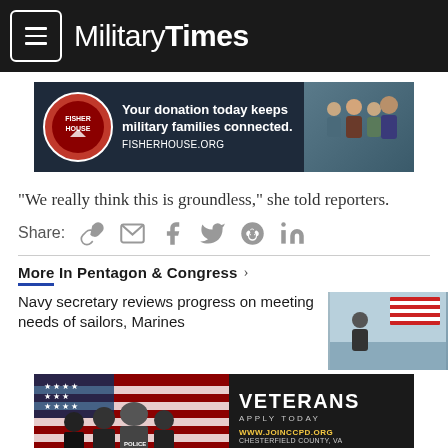Military Times
[Figure (photo): Fisher House Foundation advertisement: 'Your donation today keeps military families connected. FISHERHOUSE.ORG' with family photo on dark background]
“We really think this is groundless,” she told reporters.
Share:
More In Pentagon & Congress
Navy secretary reviews progress on meeting needs of sailors, Marines
[Figure (photo): VETERANS APPLY TODAY advertisement: www.joinccpd.org Chesterfield County, VA with police officers in front of American flag]